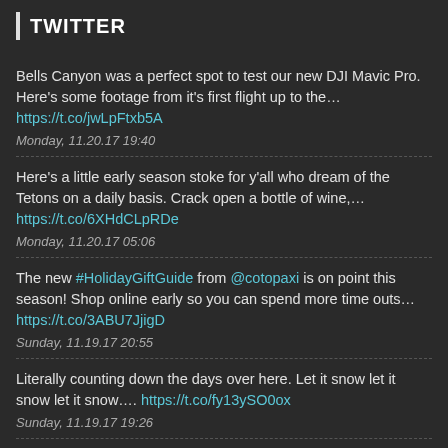TWITTER
Bells Canyon was a perfect spot to test our new DJI Mavic Pro. Here's some footage from it's first flight up to the… https://t.co/jwLpFtxb5A
Monday, 11.20.17 19:40
Here's a little early season stoke for y'all who dream of the Tetons on a daily basis. Crack open a bottle of wine,… https://t.co/6XHdCLpRDe
Monday, 11.20.17 05:06
The new #HolidayGiftGuide from @cotopaxi is on point this season! Shop online early so you can spend more time outs… https://t.co/3ABU7JjigD
Sunday, 11.19.17 20:55
Literally counting down the days over here. Let it snow let it snow let it snow…. https://t.co/fy13ySO0ox
Sunday, 11.19.17 19:26
Follow @spreadstoke (294 followers)